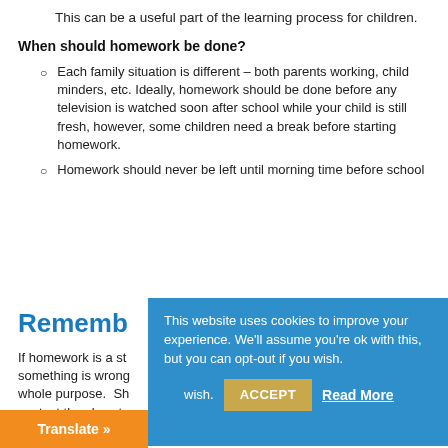This can be a useful part of the learning process for children.
When should homework be done?
Each family situation is different – both parents working, child minders, etc. Ideally, homework should be done before any television is watched soon after school while your child is still fresh, however, some children need a break before starting homework.
Homework should never be left until morning time before school
Rememb…
If homework is a st… something is wrong… whole purpose. Sh… contact the class te…
This website uses cookies to improve your experience. We'll assume you're ok with this, but you can opt-out if you wish. ACCEPT Read More
Translate »